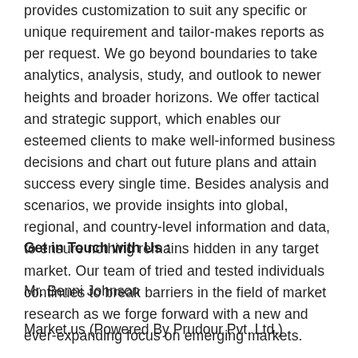provides customization to suit any specific or unique requirement and tailor-makes reports as per request. We go beyond boundaries to take analytics, analysis, study, and outlook to newer heights and broader horizons. We offer tactical and strategic support, which enables our esteemed clients to make well-informed business decisions and chart out future plans and attain success every single time. Besides analysis and scenarios, we provide insights into global, regional, and country-level information and data, to ensure nothing remains hidden in any target market. Our team of tried and tested individuals continues to break barriers in the field of market research as we forge forward with a new and ever-expanding focus on emerging markets.
Get in Touch with Us :
Mr. Benni Johnson
Market.us (Powered By Prudour Pvt. Ltd.)